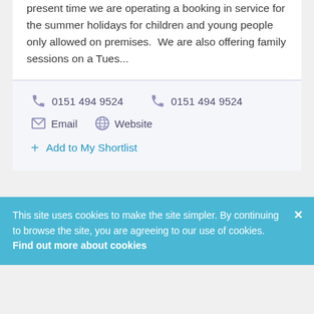present time we are operating a booking in service for the summer holidays for children and young people only allowed on premises.  We are also offering family sessions on a Tues...
0151 494 9524   0151 494 9524   Email   Website   + Add to My Shortlist
This site uses cookies to make the site simpler. By continuing to browse the site, you are agreeing to our use of cookies. Find out more about cookies